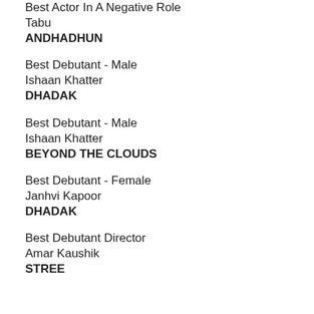Best Actor In A Negative Role
Tabu
ANDHADHUN
Best Debutant - Male
Ishaan Khatter
DHADAK
Best Debutant - Male
Ishaan Khatter
BEYOND THE CLOUDS
Best Debutant - Female
Janhvi Kapoor
DHADAK
Best Debutant Director
Amar Kaushik
STREE